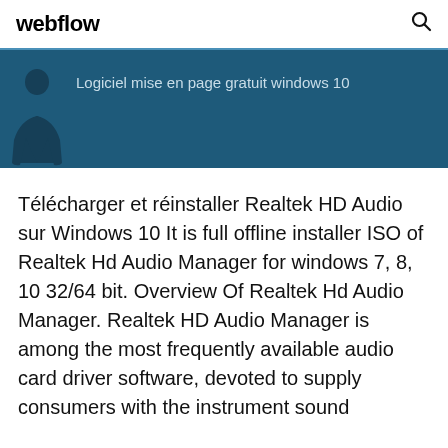webflow
[Figure (illustration): Dark blue banner with a dark silhouette figure on the left and text 'Logiciel mise en page gratuit windows 10' on the right]
Télécharger et réinstaller Realtek HD Audio sur Windows 10 It is full offline installer ISO of Realtek Hd Audio Manager for windows 7, 8, 10 32/64 bit. Overview Of Realtek Hd Audio Manager. Realtek HD Audio Manager is among the most frequently available audio card driver software, devoted to supply consumers with the instrument sound